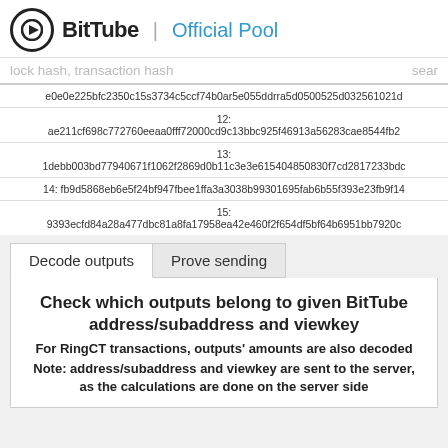BitTube | Official Pool
lock hash, transaction hash  sear
| e0e0e225bfc2350c15s3734c5ccf74b0ar5e055ddrra5d0500525d032561021d |
| 12:
ae211cf698c772760eeaa0fff72000cd9c13bbc925f46913a56283cae8544fb2 |
| 13:
1debb003bd77940671f1062f2869d0b11c3e3e615404850830f7cd2817233bdc |
| 14: fb9d5868eb6e5f24bf947fbee1ffa3a3038b99301695fab6b55f393e23fb9f14 |
| 15:
9393ecfd84a28a477dbc81a8fa17958ea42e460f2f654df5bf64b6951bb7920c |
Decode outputs  Prove sending
Check which outputs belong to given BitTube address/subaddress and viewkey
For RingCT transactions, outputs' amounts are also decoded
Note: address/subaddress and viewkey are sent to the server, as the calculations are done on the server side